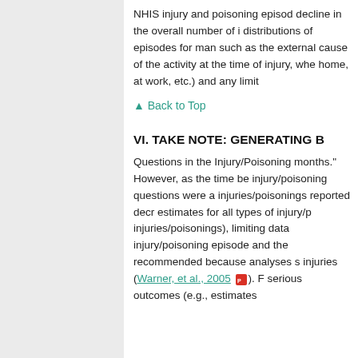NHIS injury and poisoning episode decline in the overall number of i distributions of episodes for man such as the external cause of the activity at the time of injury, whe home, at work, etc.) and any limit
▲ Back to Top
VI. TAKE NOTE: GENERATING B
Questions in the Injury/Poisoning months." However, as the time be injury/poisoning questions were a injuries/poisonings reported decr estimates for all types of injury/p injuries/poisonings), limiting data injury/poisoning episode and the recommended because analyses s injuries (Warner, et al., 2005 🔺). F serious outcomes (e.g., estimates